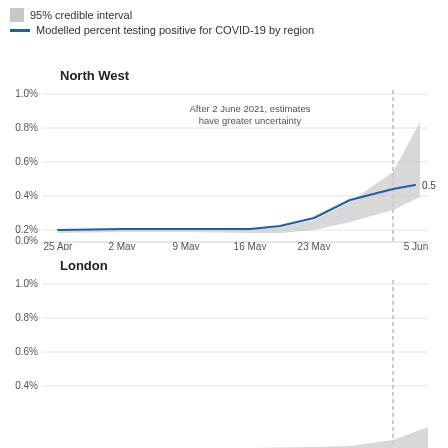[Figure (continuous-plot): Legend showing 95% credible interval (grey box) and Modelled percent testing positive for COVID-19 by region (blue line)]
North West
[Figure (line-chart): Line chart showing modelled percent testing positive for COVID-19 in North West region from 25 Apr to 5 Jun. Values start around 0.1%, remain flat until mid May, then rise to approximately 0.5% by 5 June. Grey credible interval band widens after 2 June 2021 dashed line. Annotation: After 2 June 2021, estimates have greater uncertainty. End value label: 0.5]
London
[Figure (continuous-plot): Line chart for London region from 25 Apr to 5 Jun. Y-axis 0.0% to 1.0%. Values appear to rise slightly at the end near the dashed 2 June line, with grey credible interval widening. Chart is partially cut off at bottom.]